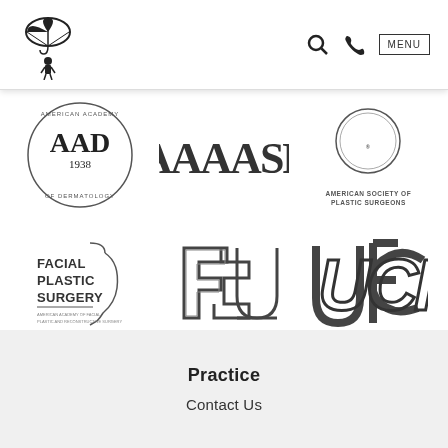[Figure (logo): Website navigation bar with a doctor/umbrella logo on left, search icon, phone icon, and MENU button on right]
[Figure (logo): AAD American Academy of Dermatology 1938 circular logo]
[Figure (logo): AAAASF American Association for Accreditation of Ambulatory Surgery Facilities logo]
[Figure (logo): American Society of Plastic Surgeons circular logo]
[Figure (logo): Facial Plastic Surgery with face silhouette logo]
[Figure (logo): FSU Florida State University logo]
[Figure (logo): UCF University of Central Florida logo]
Practice
Contact Us